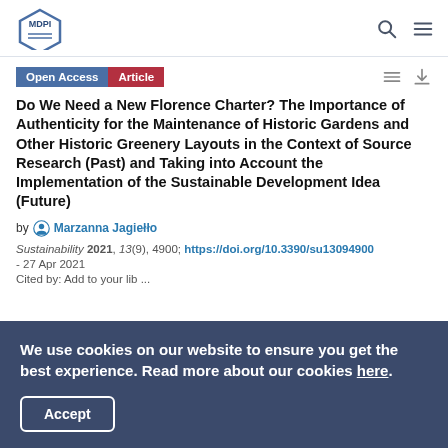MDPI
Open Access  Article
Do We Need a New Florence Charter? The Importance of Authenticity for the Maintenance of Historic Gardens and Other Historic Greenery Layouts in the Context of Source Research (Past) and Taking into Account the Implementation of the Sustainable Development Idea (Future)
by Marzanna Jagiełło
Sustainability 2021, 13(9), 4900; https://doi.org/10.3390/su13094900 - 27 Apr 2021
We use cookies on our website to ensure you get the best experience. Read more about our cookies here.
Accept